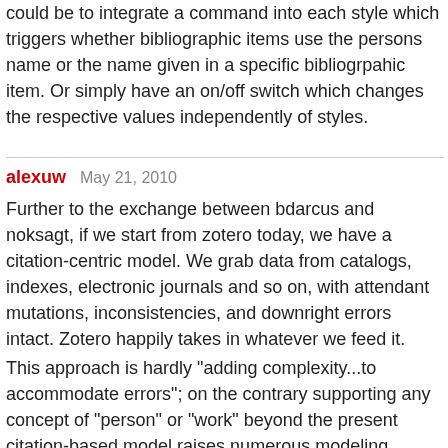could be to integrate a command into each style which triggers whether bibliographic items use the persons name or the name given in a specific bibliogrpahic item. Or simply have an on/off switch which changes the respective values independently of styles.
alexuw    May 21, 2010
Further to the exchange between bdarcus and noksagt, if we start from zotero today, we have a citation-centric model. We grab data from catalogs, indexes, electronic journals and so on, with attendant mutations, inconsistencies, and downright errors intact. Zotero happily takes in whatever we feed it.
This approach is hardly "adding complexity...to accommodate errors"; on the contrary supporting any concept of "person" or "work" beyond the present citation-based model raises numerous modeling issues, some quite complex and difficult. Consider above how above immediately we need to start talking about "aliases" and "personas." Or take a look at previous discussions of multi-lingual citations (here's one). From a more pragmatic perspective it implies quite dramatic